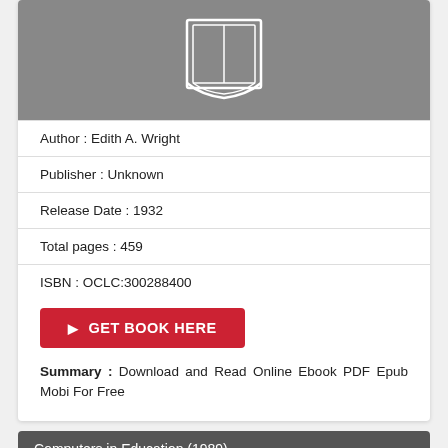[Figure (illustration): Book cover placeholder image with a gray background and white open book icon]
Author : Edith A. Wright
Publisher : Unknown
Release Date : 1932
Total pages : 459
ISBN : OCLC:300288400
GET BOOK HERE
Summary : Download and Read Online Ebook PDF Epub Mobi For Free
Computers in Education (1989)